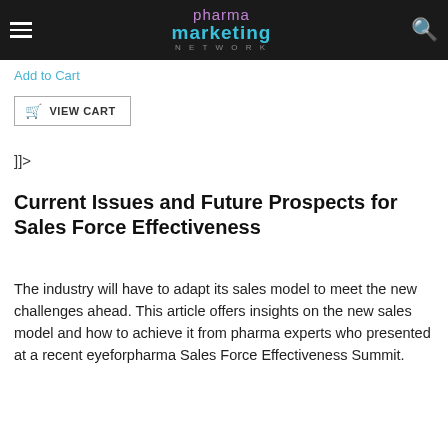pharma marketing NETWORK
Add to Cart
VIEW CART
]]>
Current Issues and Future Prospects for Sales Force Effectiveness
The industry will have to adapt its sales model to meet the new challenges ahead. This article offers insights on the new sales model and how to achieve it from pharma experts who presented at a recent eyeforpharma Sales Force Effectiveness Summit.